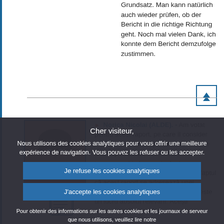Grundsatz. Man kann natürlich auch wieder prüfen, ob der Bericht in die richtige Richtung geht. Noch mal vielen Dank, ich konnte dem Bericht demzufolge zustimmen.
[Figure (photo): Portrait photo of Norica Nicolai with a video/speaker icon below]
Norica Nicolai (ALDE). - Am votat pentru acest raport, pe care îl consider unul din cele mai importante voturi date unui raport astăzi. Nu numai că se impunea schimbarea și adaptarea directivelor anterioare din 1974, dar faptul că acest raport se adresează unei categorii de consumatori vulnerabili este un lucru absolut relevant. Acești consumatori sunt adesea
Cher visiteur,
Nous utilisons des cookies analytiques pour vous offrir une meilleure expérience de navigation. Vous pouvez les refuser ou les accepter.
Je refuse les cookies analytiques
J'accepte les cookies analytiques
Pour obtenir des informations sur les autres cookies et les journaux de serveur que nous utilisons, veuillez lire notre politique de protection des données , notre politique d'utilisation des cookies et notre inventaire des cookies.